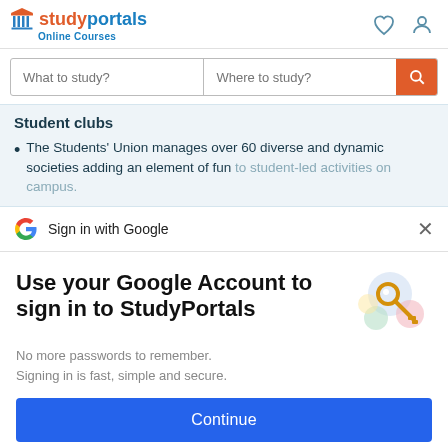studyportals Online Courses
What to study? | Where to study?
Student clubs
The Students' Union manages over 60 diverse and dynamic societies adding an element of fun to student-led activities on campus.
Sign in with Google
Use your Google Account to sign in to StudyPortals
No more passwords to remember. Signing in is fast, simple and secure.
Continue